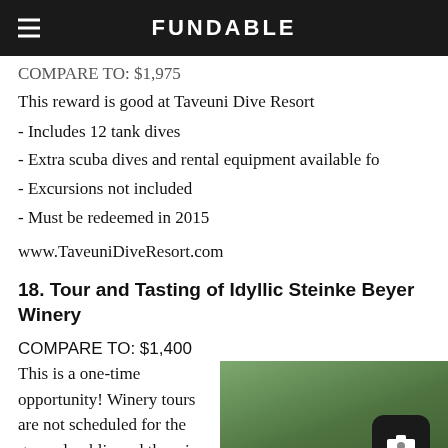FUNDABLE
COMPARE TO: $1,975 (partial, cut off)
This reward is good at Taveuni Dive Resort
- Includes 12 tank dives
- Extra scuba dives and rental equipment available fo...
- Excursions not included
- Must be redeemed in 2015
www.TaveuniDiveResort.com
18. Tour and Tasting of Idyllic Steinke Beyer Winery
COMPARE TO: $1,400
This is a one-time opportunity! Winery tours are not scheduled for the general public and the wine is not available for retail
[Figure (photo): Photo of a wine bottle outdoors with green foliage background, partially visible]